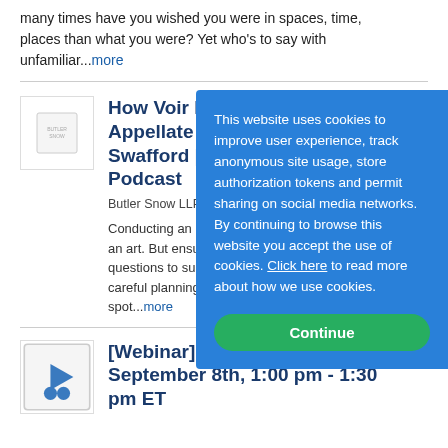many times have you wished you were in spaces, time, places than what you were? Yet who's to say with unfamiliar...more
How Voir Dire Fits Into Appellate Practice | Swafford | Texas... Podcast
Butler Snow LLP on 8/18/20...
Conducting an effective voir... an art. But ensuring that att... questions to support challen... careful planning and strategi... spot...more
This website uses cookies to improve user experience, track anonymous site usage, store authorization tokens and permit sharing on social media networks. By continuing to browse this website you accept the use of cookies. Click here to read more about how we use cookies.
Continue
[Webinar] Eye on... September 8th, 1:00 pm - 1:30 pm ET